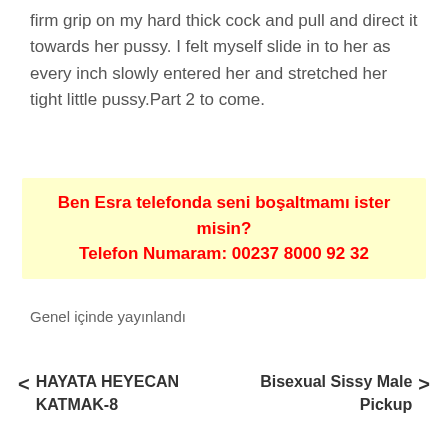firm grip on my hard thick cock and pull and direct it towards her pussy. I felt myself slide in to her as every inch slowly entered her and stretched her tight little pussy.Part 2 to come.
Ben Esra telefonda seni boşaltmamı ister misin?
Telefon Numaram: 00237 8000 92 32
Genel içinde yayınlandı
< HAYATA HEYECAN KATMAK-8
Bisexual Sissy Male Pickup >